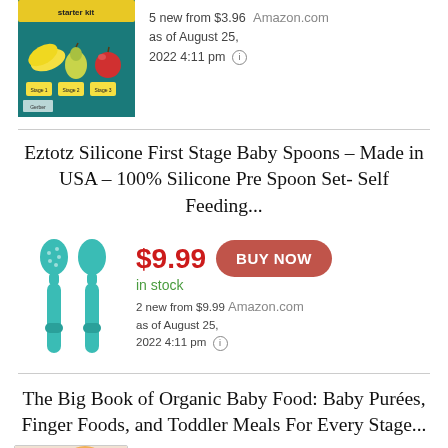[Figure (photo): Baby food starter kit product package with fruits illustration]
5 new from $3.96 as of August 25, 2022 4:11 pm ⓘ Amazon.com
Eztotz Silicone First Stage Baby Spoons – Made in USA – 100% Silicone Pre Spoon Set- Self Feeding...
[Figure (photo): Teal silicone baby spoons pair]
$9.99 in stock BUY NOW 2 new from $9.99 as of August 25, 2022 4:11 pm ⓘ Amazon.com
The Big Book of Organic Baby Food: Baby Purées, Finger Foods, and Toddler Meals For Every Stage...
[Figure (photo): Colorful organic baby food ingredients]
$13.29 BUY NOW